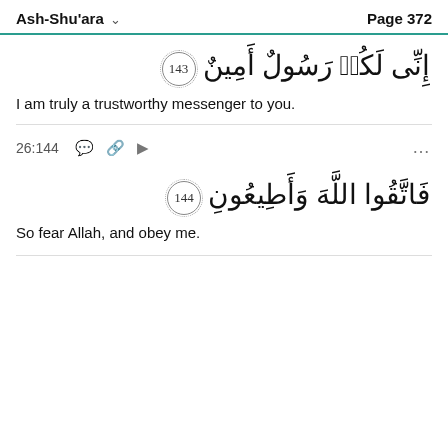Ash-Shu'ara  Page 372
إِنِّى لَكُم رَسُولٌ أَمِينٌ ١٤٣
I am truly a trustworthy messenger to you.
26:144
فَاتَّقُوا اللَّهَ وَأَطِيعُونِ ١٤٤
So fear Allah, and obey me.